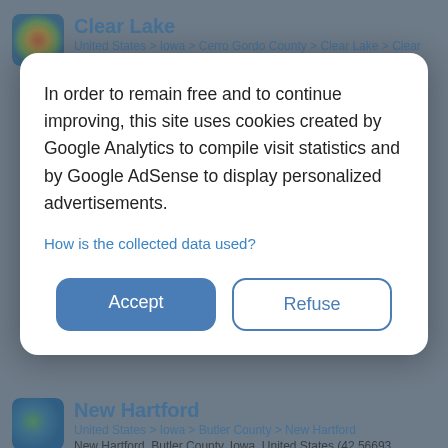Clear Lake
United States > Iowa > Cerro Gordo County > Clear Lake > Clear Lake
Clear Lake, Cerro Gordo County, Iowa, 50428, United States (43.13708 -93.38136)
Coordinates: 43.09708 -93.42136 43.17708 -93.34136 - Minimum elevation: 353 m - Maximum elevation: 398 m - Average elevation:
In order to remain free and to continue improving, this site uses cookies created by Google Analytics to compile visit statistics and by Google AdSense to display personalized advertisements.
How is the collected data used?
Accept
Refuse
New Hartford
United States > Iowa > Butler County > New Hartford
New Hartford, Butler County, Iowa, United States (42.56693 -92.62214)
Coordinates: 42.56313 -92.63295 42.57060 -92.61349 - Minimum elevation: 269 m - Maximum elevation: 329 m - Average elevation: 287 m